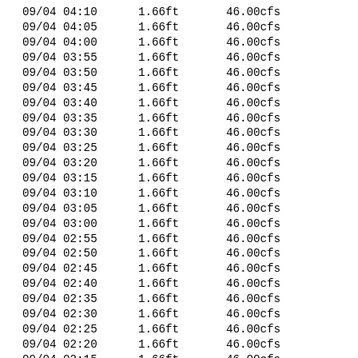| 09/04 04:10 | 1.66ft | 46.00cfs |
| 09/04 04:05 | 1.66ft | 46.00cfs |
| 09/04 04:00 | 1.66ft | 46.00cfs |
| 09/04 03:55 | 1.66ft | 46.00cfs |
| 09/04 03:50 | 1.66ft | 46.00cfs |
| 09/04 03:45 | 1.66ft | 46.00cfs |
| 09/04 03:40 | 1.66ft | 46.00cfs |
| 09/04 03:35 | 1.66ft | 46.00cfs |
| 09/04 03:30 | 1.66ft | 46.00cfs |
| 09/04 03:25 | 1.66ft | 46.00cfs |
| 09/04 03:20 | 1.66ft | 46.00cfs |
| 09/04 03:15 | 1.66ft | 46.00cfs |
| 09/04 03:10 | 1.66ft | 46.00cfs |
| 09/04 03:05 | 1.66ft | 46.00cfs |
| 09/04 03:00 | 1.66ft | 46.00cfs |
| 09/04 02:55 | 1.66ft | 46.00cfs |
| 09/04 02:50 | 1.66ft | 46.00cfs |
| 09/04 02:45 | 1.66ft | 46.00cfs |
| 09/04 02:40 | 1.66ft | 46.00cfs |
| 09/04 02:35 | 1.66ft | 46.00cfs |
| 09/04 02:30 | 1.66ft | 46.00cfs |
| 09/04 02:25 | 1.66ft | 46.00cfs |
| 09/04 02:20 | 1.66ft | 46.00cfs |
| 09/04 02:15 | 1.66ft | 46.00cfs |